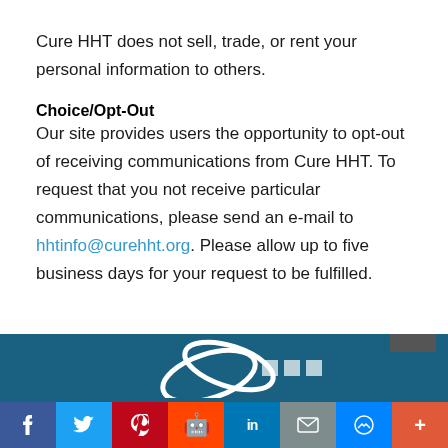Cure HHT does not sell, trade, or rent your personal information to others.
Choice/Opt-Out
Our site provides users the opportunity to opt-out of receiving communications from Cure HHT. To request that you not receive particular communications, please send an e-mail to hhtinfo@curehht.org. Please allow up to five business days for your request to be fulfilled.
[Figure (logo): Cure HHT footer logo on dark teal background with partial logo visible]
Social share bar: Facebook, Twitter, Pinterest, Reddit, LinkedIn, Email, Messenger, More